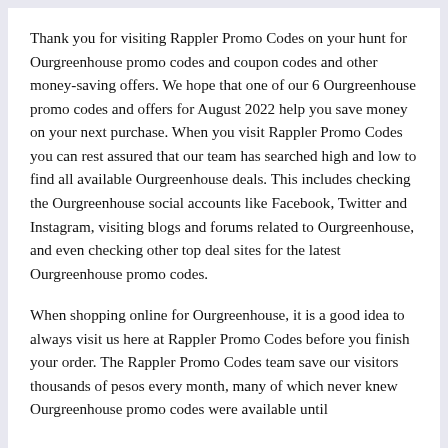Thank you for visiting Rappler Promo Codes on your hunt for Ourgreenhouse promo codes and coupon codes and other money-saving offers. We hope that one of our 6 Ourgreenhouse promo codes and offers for August 2022 help you save money on your next purchase. When you visit Rappler Promo Codes you can rest assured that our team has searched high and low to find all available Ourgreenhouse deals. This includes checking the Ourgreenhouse social accounts like Facebook, Twitter and Instagram, visiting blogs and forums related to Ourgreenhouse, and even checking other top deal sites for the latest Ourgreenhouse promo codes.
When shopping online for Ourgreenhouse, it is a good idea to always visit us here at Rappler Promo Codes before you finish your order. The Rappler Promo Codes team save our visitors thousands of pesos every month, many of which never knew Ourgreenhouse promo codes were available until